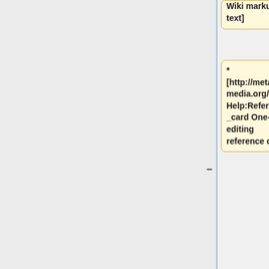Wiki markup text]
* [http://meta.wikimedia.org/wiki/Help:Reference_card One-page editing reference card]
* [http://www.mediawiki.org/wiki/Manual:Configuration_settings Configuration Settings list]
* [http://lists.wikimedia.org/mailman/listinfo/mediawiki-